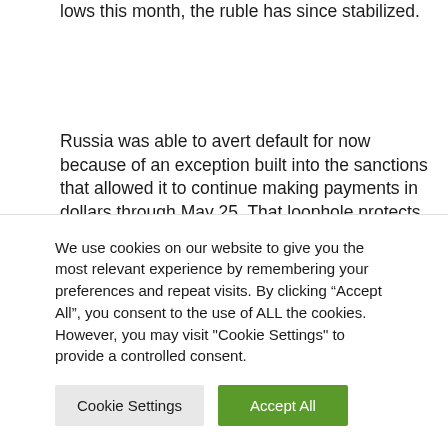lows this month, the ruble has since stabilized.
Russia was able to avert default for now because of an exception built into the sanctions that allowed it to continue making payments in dollars through May 25. That loophole protects foreign investors and gives Russia more time to devastate Ukraine without feeling the full wrath of the sanctions
We use cookies on our website to give you the most relevant experience by remembering your preferences and repeat visits. By clicking “Accept All”, you consent to the use of ALL the cookies. However, you may visit "Cookie Settings" to provide a controlled consent.